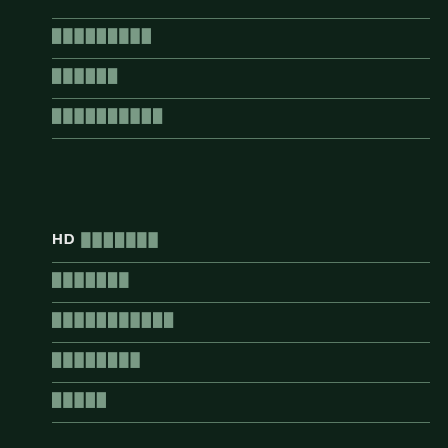█████████
██████
██████████
HD ███████
███████
███████████
████████
█████